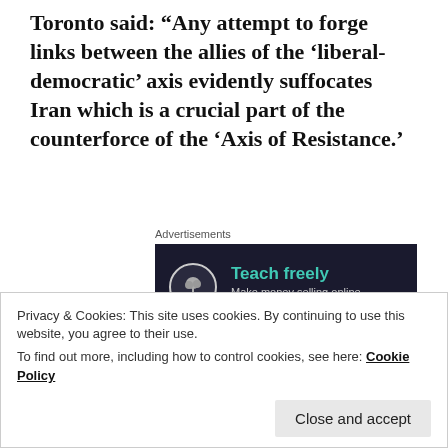Toronto said: “Any attempt to forge links between the allies of the ‘liberal-democratic’ axis evidently suffocates Iran which is a crucial part of the counterforce of the ‘Axis of Resistance.’
Advertisements
[Figure (other): Advertisement banner with dark background showing a bonsai tree icon, teal heading 'Teach freely', and subtext 'Make money selling online courses.']
REPORT THIS AD
“This, in fact, is not even a matter of conjecture. Israeli leaders themselves are seeing as this as an affront to Iran, with Israel’s MP stating that the “peace deal is the new front against Iran.”
Privacy & Cookies: This site uses cookies. By continuing to use this website, you agree to their use.
To find out more, including how to control cookies, see here: Cookie Policy
Close and accept